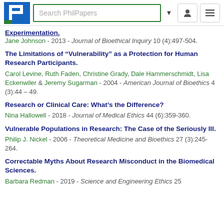[Figure (screenshot): PhilPapers website header with logo, search bar, dropdown arrow, user icon, and hamburger menu icon]
Experimentation.
Jane Johnson - 2013 - Journal of Bioethical Inquiry 10 (4):497-504.
The Limitations of "Vulnerability" as a Protection for Human Research Participants.
Carol Levine, Ruth Faden, Christine Grady, Dale Hammerschmidt, Lisa Eckenwiler & Jeremy Sugarman - 2004 - American Journal of Bioethics 4 (3):44 – 49.
Research or Clinical Care: What's the Difference?
Nina Hallowell - 2018 - Journal of Medical Ethics 44 (6):359-360.
Vulnerable Populations in Research: The Case of the Seriously Ill.
Philip J. Nickel - 2006 - Theoretical Medicine and Bioethics 27 (3):245-264.
Correctable Myths About Research Misconduct in the Biomedical Sciences.
Barbara Redman - 2019 - Science and Engineering Ethics 25